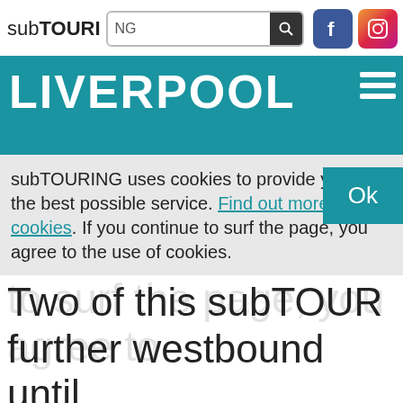subTOURING [search box] [Facebook icon] [Instagram icon]
LIVERPOOL
subTOURING uses cookies to provide you with the best possible service. Find out more about cookies. If you continue to surf the page, you agree to the use of cookies.
Part Two of this subTOUR further westbound until famous Cavern Club